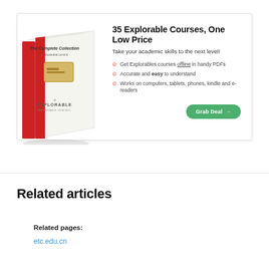[Figure (infographic): Advertisement banner for Explorable Complete Collection: book image on left, text '35 Explorable Courses, One Low Price' with bullet points and green 'Grab Deal' button on right]
Related articles
Related pages:
etc.edu.cn